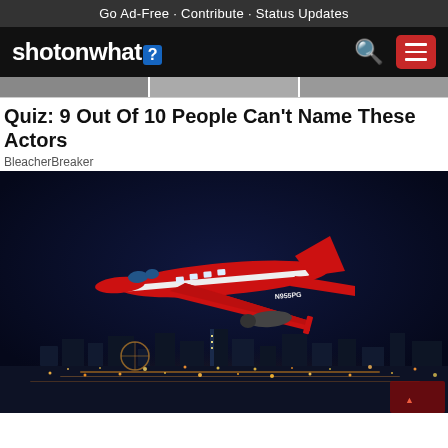Go Ad-Free - Contribute - Status Updates
shotonwhat?
Quiz: 9 Out Of 10 People Can't Name These Actors
BleacherBreaker
[Figure (photo): Red private jet (tail number N955PG) flying over Las Vegas Strip cityscape at night with city lights visible below and dark blue sky above.]